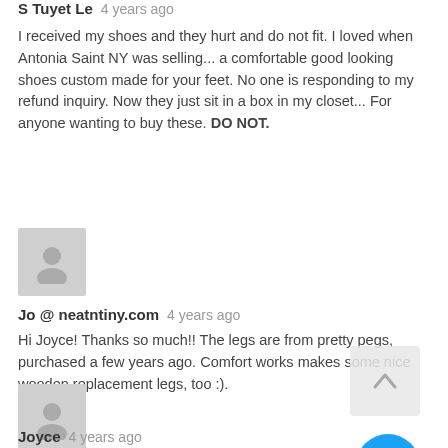S Tuyet Le   4 years ago
I received my shoes and they hurt and do not fit.  I loved when Antonia Saint NY was selling... a comfortable good looking shoes custom made for your feet.   No one is responding to my refund inquiry.  Now they just sit in a box in my closet...  For anyone wanting to buy these.  DO NOT.
[Figure (illustration): Gray avatar placeholder icon for Jo @ neatntiny.com]
Jo @ neatntiny.com   4 years ago
Hi Joyce! Thanks so much!! The legs are from pretty pegs, purchased a few years ago. Comfort works makes some nice wooden replacement legs, too :).
[Figure (illustration): Back to top arrow button]
[Figure (illustration): Gray avatar placeholder icon for Joyce]
Joyce   4 years ago
[Figure (illustration): Blue circular FAB button with three dots]